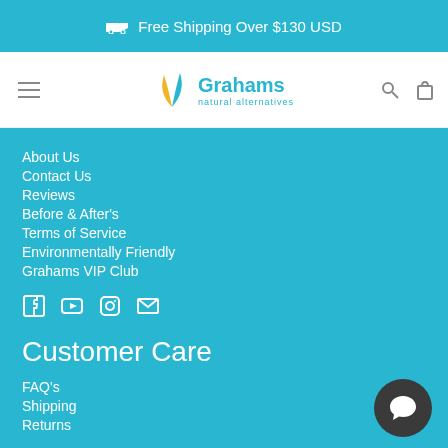Free Shipping Over $130 USD
[Figure (logo): Grahams Natural Alternatives logo with teal leaf/feather icon]
About Us
Contact Us
Reviews
Before & After's
Terms of Service
Environmentally Friendly
Grahams VIP Club
[Figure (infographic): Social media icons: Facebook, YouTube, Instagram, Email]
Customer Care
FAQ's
Shipping
Returns